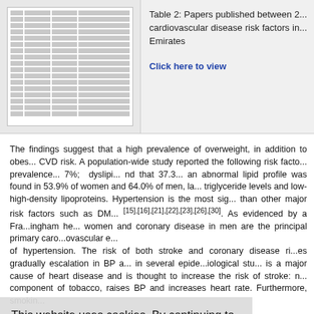[Figure (table-as-image): Thumbnail preview of Table 2 showing a tabular list of papers on cardiovascular disease risk factors in the UAE]
Table 2: Papers published between 2... cardiovascular disease risk factors in... Emirates
Click here to view
The findings suggest that a high prevalence of overweight, in addition to obes... CVD risk. A population-wide study reported the following risk factor prevalence... 7%; dyslipi... nd that 37.3... an abnormal lipid profile was found in 53.9% of women and 64.0% of men, la... triglyceride levels and low-density lipoproteins. Hypertension is the most sig... than other major risk factors such as DM... [15],[16],[21],[22],[23],[26],[30]. As evidenced by a Framingham he... women and coronary disease in men are the principal primary cardiovascular e... of hypertension. The risk of both stroke and coronary disease rises gradually... escalation in BP a... in several epidemiological stu... is a major cause of heart disease and is thought to increase the risk of stroke: n... component of tobacco, raises BP and increases heart rate. Furthermore, smokin...
This website uses cookies. By continuing to use this website you are giving consent to cookies being used. For information on cookies and how you can disable them visit our Privacy and Cookie Policy.
AGREE & PROCEED